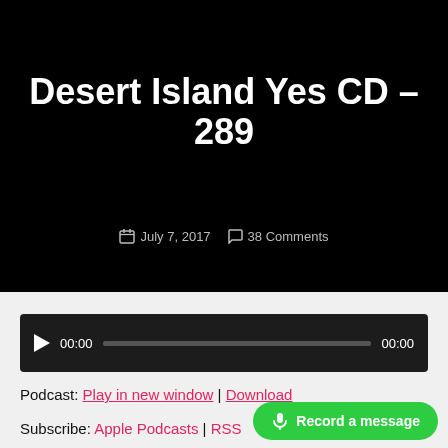Search  [logo]  Menu
Desert Island Yes CD – 289
July 7, 2017   38 Comments
[Figure (other): Audio player with play button, time display 00:00, progress bar, and end time 00:00]
Podcast: Play in new window | Download
Subscribe: Apple Podcasts | RSS
[Figure (other): Green 'Record a message' button with microphone icon]